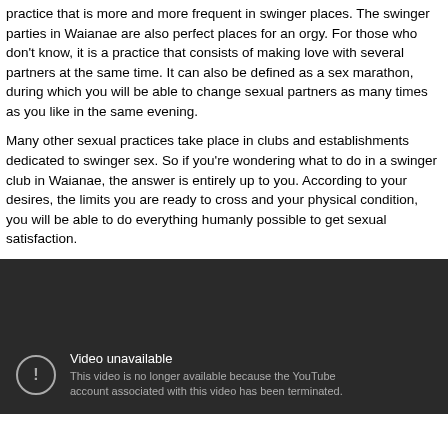practice that is more and more frequent in swinger places. The swinger parties in Waianae are also perfect places for an orgy. For those who don't know, it is a practice that consists of making love with several partners at the same time. It can also be defined as a sex marathon, during which you will be able to change sexual partners as many times as you like in the same evening.
Many other sexual practices take place in clubs and establishments dedicated to swinger sex. So if you're wondering what to do in a swinger club in Waianae, the answer is entirely up to you. According to your desires, the limits you are ready to cross and your physical condition, you will be able to do everything humanly possible to get sexual satisfaction.
[Figure (screenshot): Embedded video player showing 'Video unavailable' message. Dark background with centered error icon (exclamation mark in circle) and text: 'Video unavailable. This video is no longer available because the YouTube account associated with this video has been terminated.']